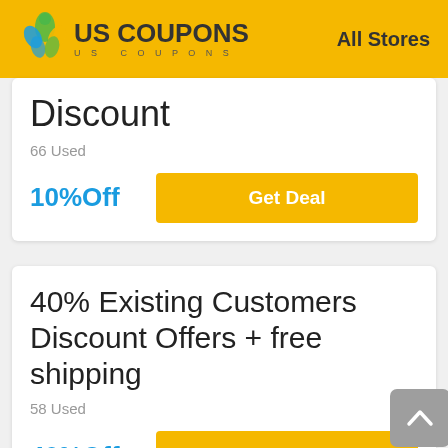US COUPONS   All Stores
Discount
66 Used
10%Off
Get Deal
40% Existing Customers Discount Offers + free shipping
58 Used
40%Off
Get Deal